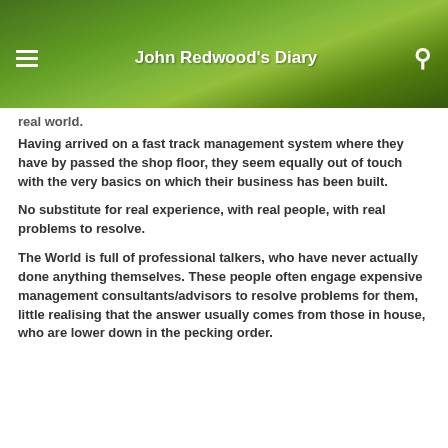[Figure (screenshot): Website header with green leafy plant background showing 'John Redwood's Diary' title with hamburger menu icon on left and search icon on right]
real world.
Having arrived on a fast track management system where they have by passed the shop floor, they seem equally out of touch with the very basics on which their business has been built.
No substitute for real experience, with real people, with real problems to resolve.
The World is full of professional talkers, who have never actually done anything themselves. These people often engage expensive management consultants/advisors to resolve problems for them, little realising that the answer usually comes from those in house, who are lower down in the pecking order.